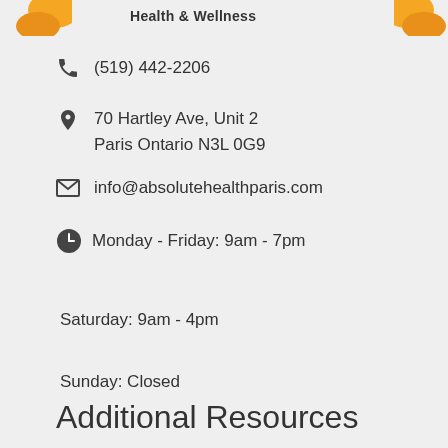Health & Wellness
(519) 442-2206
70 Hartley Ave, Unit 2
Paris Ontario N3L 0G9
info@absolutehealthparis.com
Monday - Friday: 9am - 7pm
Saturday: 9am - 4pm
Sunday: Closed
Additional Resources